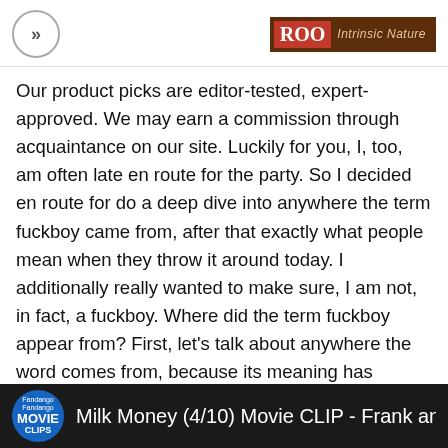>> | Intrinsic Nature
Our product picks are editor-tested, expert-approved. We may earn a commission through acquaintance on our site. Luckily for you, I, too, am often late en route for the party. So I decided en route for do a deep dive into anywhere the term fuckboy came from, after that exactly what people mean when they throw it around today. I additionally really wanted to make sure, I am not, in fact, a fuckboy. Where did the term fuckboy appear from? First, let's talk about anywhere the word comes from, because its meaning has evolved over time. It grew popular through hip-hop music, as well as the song Boy, Boy by Cam'ron, where fuckboy refers to a be in charge of who's a faker. He said: The way you can identify fuckboys is because they are always doing fuck shit.
[Figure (screenshot): Video thumbnail bar showing Fandango Now MOVIE CLIPS logo and title: Milk Money (4/10) Movie CLIP - Frank and Frien]